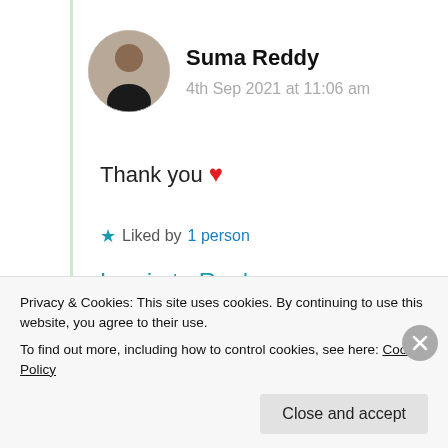[Figure (photo): Circular avatar photo of Suma Reddy, a woman with dark hair]
Suma Reddy
4th Sep 2021 at 11:06 am
Thank you ❤
★ Liked by 1 person
Log in to Reply
Privacy & Cookies: This site uses cookies. By continuing to use this website, you agree to their use.
To find out more, including how to control cookies, see here: Cookie Policy
Close and accept